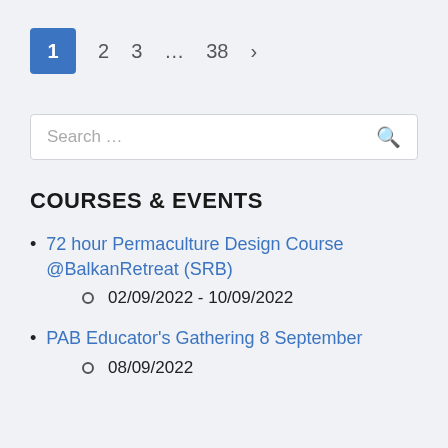1  2  3  ...  38  >
Search ...
COURSES & EVENTS
72 hour Permaculture Design Course @BalkanRetreat (SRB)
02/09/2022 - 10/09/2022
PAB Educator's Gathering 8 September
08/09/2022